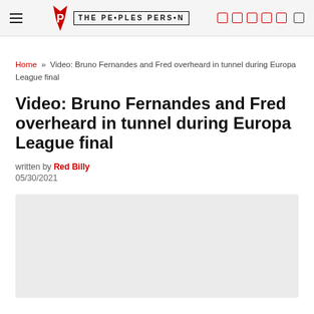THE PEOPLES PERSON
Home » Video: Bruno Fernandes and Fred overheard in tunnel during Europa League final
Video: Bruno Fernandes and Fred overheard in tunnel during Europa League final
written by Red Billy
05/30/2021
[Figure (photo): Light grey image placeholder for article media content]